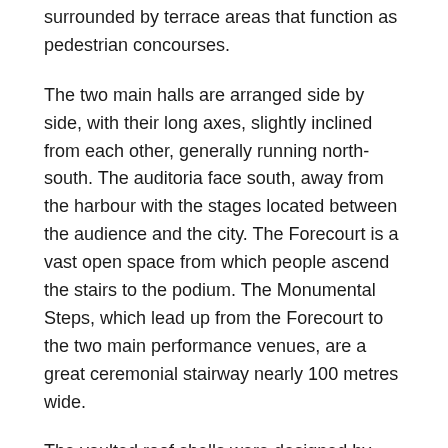surrounded by terrace areas that function as pedestrian concourses.
The two main halls are arranged side by side, with their long axes, slightly inclined from each other, generally running north-south. The auditoria face south, away from the harbour with the stages located between the audience and the city. The Forecourt is a vast open space from which people ascend the stairs to the podium. The Monumental Steps, which lead up from the Forecourt to the two main performance venues, are a great ceremonial stairway nearly 100 metres wide.
The vaulted roof shells were designed by Utzon in collaboration with internationally renowned engineers Ove Arup & Partners with the final shape of the shells derived from the surface of a single imagined sphere. Each shell is composed of pre-cast rib segments radiating from a concrete pedestal and